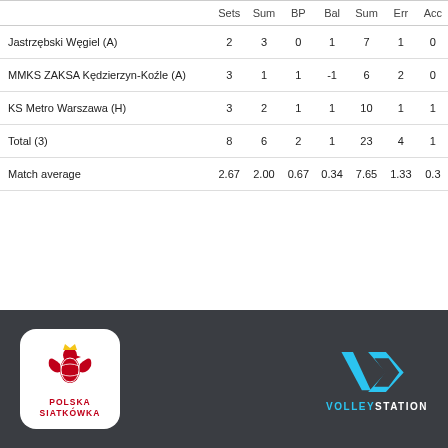|  | Sets | Sum | BP | Bal | Sum | Err | Acc |
| --- | --- | --- | --- | --- | --- | --- | --- |
| Jastrzębski Węgiel (A) | 2 | 3 | 0 | 1 | 7 | 1 | 0 |
| MMKS ZAKSA Kędzierzyn-Koźle (A) | 3 | 1 | 1 | -1 | 6 | 2 | 0 |
| KS Metro Warszawa (H) | 3 | 2 | 1 | 1 | 10 | 1 | 1 |
| Total (3) | 8 | 6 | 2 | 1 | 23 | 4 | 1 |
| Match average | 2.67 | 2.00 | 0.67 | 0.34 | 7.65 | 1.33 | 0.3 |
[Figure (logo): Polska Siatkówka (Polish Volleyball Federation) logo — white rounded square with red eagle and volleyball, text POLSKA SIATKÓWKA]
[Figure (logo): VolleyStation logo — blue VS chevron/arrow icon with VOLLEYSTATION text in white and blue]